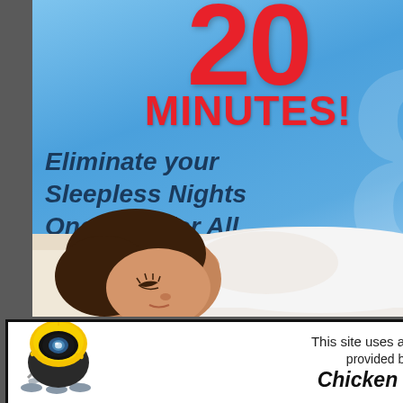[Figure (infographic): Advertisement banner with blue gradient background showing '20 MINUTES!' in red bold text, italic dark text reading 'Eliminate your Sleepless Nights Once and for All ..100% Guaranteed!', a sleeping woman photo at bottom, and a large translucent '8' in background]
[Figure (infographic): Analytics badge with robot/bug illustration on left and text 'This site uses analytics provided by: Chicken Bug' on right, white background with black border]
READ MORE!